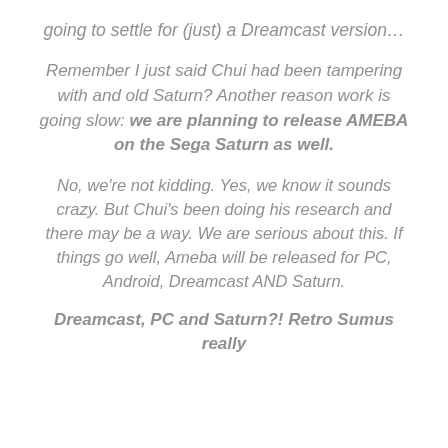going to settle for (just) a Dreamcast version…
Remember I just said Chui had been tampering with and old Saturn? Another reason work is going slow: we are planning to release AMEBA on the Sega Saturn as well.
No, we're not kidding. Yes, we know it sounds crazy. But Chui's been doing his research and there may be a way. We are serious about this. If things go well, Ameba will be released for PC, Android, Dreamcast AND Saturn.
Dreamcast, PC and Saturn?! Retro Sumus really